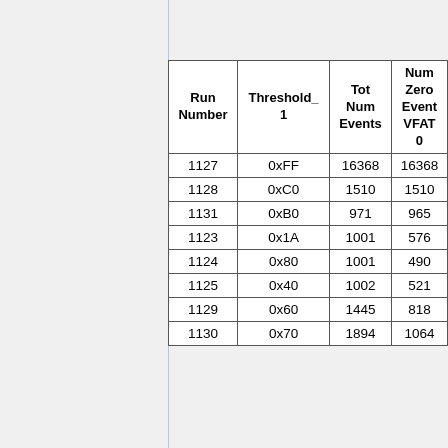| Run Number | Threshold_1 | Tot Num Events | Num Zero Event VFAT 0 |
| --- | --- | --- | --- |
| 1127 | 0xFF | 16368 | 16368 |
| 1128 | 0xC0 | 1510 | 1510 |
| 1131 | 0xB0 | 971 | 965 |
| 1123 | 0x1A | 1001 | 576 |
| 1124 | 0x80 | 1001 | 490 |
| 1125 | 0x40 | 1002 | 521 |
| 1129 | 0x60 | 1445 | 818 |
| 1130 | 0x70 | 1894 | 1064 |